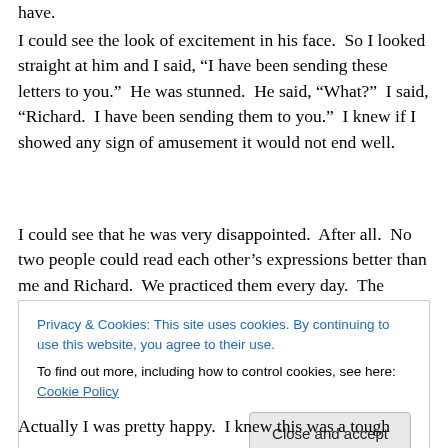have.
I could see the look of excitement in his face.  So I looked straight at him and I said, “I have been sending these letters to you.”  He was stunned.  He said, “What?”  I said, “Richard.  I have been sending them to you.”  I knew if I showed any sign of amusement it would not end well.
I could see that he was very disappointed.  After all.  No two people could read each other’s expressions better than me and Richard.  We practiced them every day.  The corners of his mouth went down.  The middle went up.
Privacy & Cookies: This site uses cookies. By continuing to use this website, you agree to their use.
To find out more, including how to control cookies, see here: Cookie Policy
Actually I was pretty happy.  I knew this was a tough